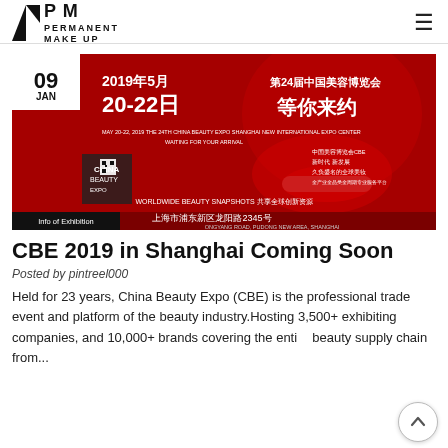PM PERMANENT MAKE UP
[Figure (photo): CBE 2019 China Beauty Expo promotional banner showing a woman's face in red tones with Chinese text reading '2019年5月 第24届中国美容博览会 20-22日 等你来约' and English text 'MAY 20-22, 2019 THE 24TH CHINA BEAUTY EXPO SHANGHAI NEW INTERNATIONAL EXPO CENTER WAITING FOR YOUR ARRIVAL'. Bottom bar shows 'Info of Exhibition' and address in Chinese and English: 上海市浦东新区龙阳路2345号 / ONGYANG ROAD, PUDONG NEW AREA, SHANGHAI'.]
CBE 2019 in Shanghai Coming Soon
Posted by pintreel000
Held for 23 years, China Beauty Expo (CBE) is the professional trade event and platform of the beauty industry.Hosting 3,500+ exhibiting companies, and 10,000+ brands covering the entire beauty supply chain from...